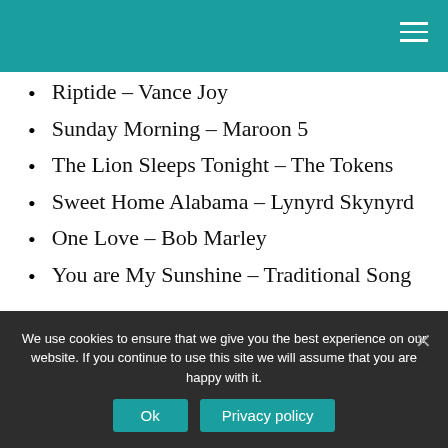Riptide – Vance Joy
Sunday Morning – Maroon 5
The Lion Sleeps Tonight – The Tokens
Sweet Home Alabama – Lynyrd Skynyrd
One Love – Bob Marley
You are My Sunshine – Traditional Song
What are the most popular ukulele songs?
Most popular music can be played on a
We use cookies to ensure that we give you the best experience on our website. If you continue to use this site we will assume that you are happy with it.